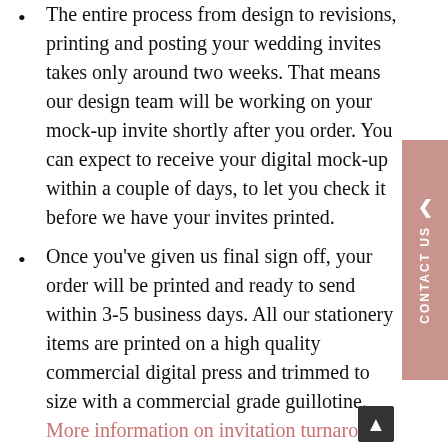The entire process from design to revisions, printing and posting your wedding invites takes only around two weeks. That means our design team will be working on your mock-up invite shortly after you order. You can expect to receive your digital mock-up within a couple of days, to let you check it before we have your invites printed.
Once you've given us final sign off, your order will be printed and ready to send within 3-5 business days. All our stationery items are printed on a high quality commercial digital press and trimmed to size with a commercial grade guillotine. More information on invitation turnaround times is available on our FAQ page,